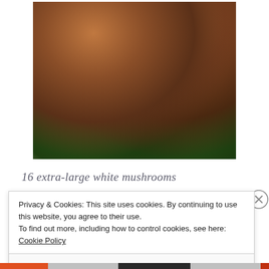[Figure (photo): Close-up photo of two stuffed mushrooms filled with a browned, crumbly stuffing, served on a white plate with green herb garnish beneath them.]
16 extra-large white mushrooms
Privacy & Cookies: This site uses cookies. By continuing to use this website, you agree to their use.
To find out more, including how to control cookies, see here: Cookie Policy
Close and accept